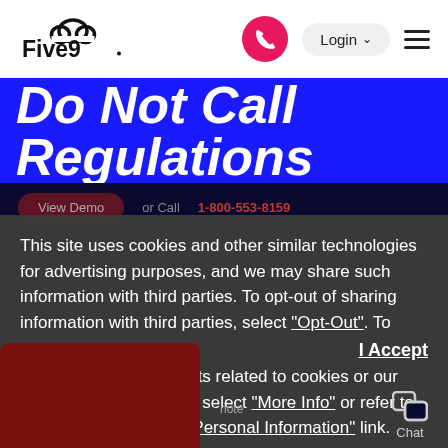[Figure (logo): Five9 logo with cloud icon]
Do Not Call Regulations
View Demo   or Call 1-800-553-8159
This site uses cookies and other similar technologies for advertising purposes, and we may share such information with third parties. To opt-out of sharing information with third parties, select "Opt-Out". To exercise your other rights related to cookies or our use of your information, select "More Info" or refer to this "Do Not Share My Personal Information" link.
I Accept